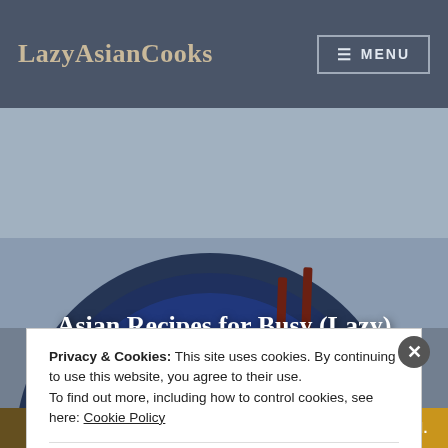LazyAsianCooks
[Figure (photo): Hero image of a blue bowl with dumplings in broth garnished with green onions, and chopsticks on the right side, on a gray background]
Asian Recipes for Busy (Lazy) People
[Figure (photo): Partial view of a dark bowl on a golden/sparkly background, partially obscured by the cookie notice]
Privacy & Cookies: This site uses cookies. By continuing to use this website, you agree to their use.
To find out more, including how to control cookies, see here: Cookie Policy
Close and accept
app you'll ever need.